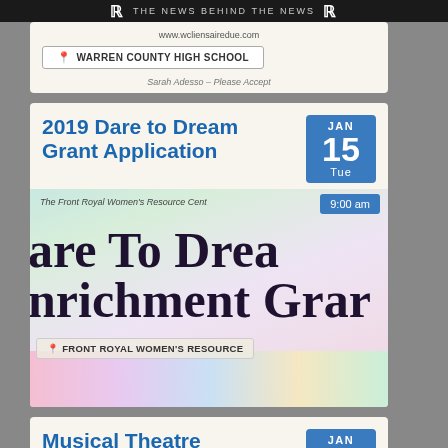THE NEWS BEHIND THE NEWS
www.wcliensairedue.com
WARREN COUNTY HIGH SCHOOL
Sarah Adesso - Please Accept
2019 Dare to Dream Grant Application
JAN 15 Tue
The Front Royal Women's Resource Cent...
9:00 am
are To Drea
nrichment Grar
FRONT ROYAL WOMEN'S RESOURCE
Musical Theatre MasterClass with
JAN 19 Sat